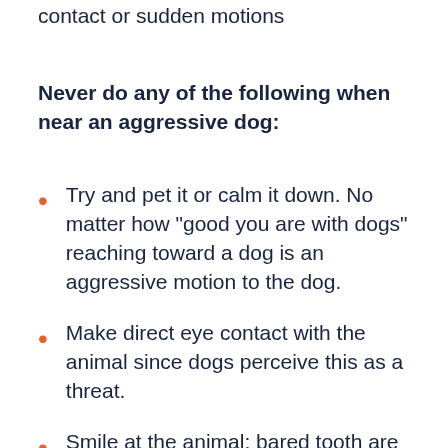contact or sudden motions
Never do any of the following when near an aggressive dog:
Try and pet it or calm it down. No matter how “good you are with dogs” reaching toward a dog is an aggressive motion to the dog.
Make direct eye contact with the animal since dogs perceive this as a threat.
Smile at the animal; bared tooth are